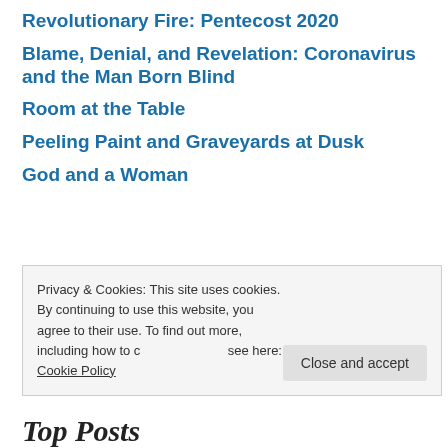Revolutionary Fire: Pentecost 2020
Blame, Denial, and Revelation: Coronavirus and the Man Born Blind
Room at the Table
Peeling Paint and Graveyards at Dusk
God and a Woman
Privacy & Cookies: This site uses cookies. By continuing to use this website, you agree to their use. To find out more, including how to control cookies, see here: Cookie Policy
Top Posts